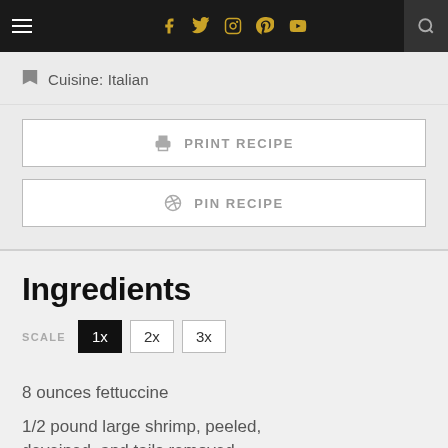Navigation bar with menu, social icons (Facebook, Twitter, Instagram, Pinterest, YouTube), and search
Cuisine: Italian
PRINT RECIPE
PIN RECIPE
Ingredients
SCALE 1x 2x 3x
8 ounces fettuccine
1/2 pound large shrimp, peeled, deveined, and tails removed